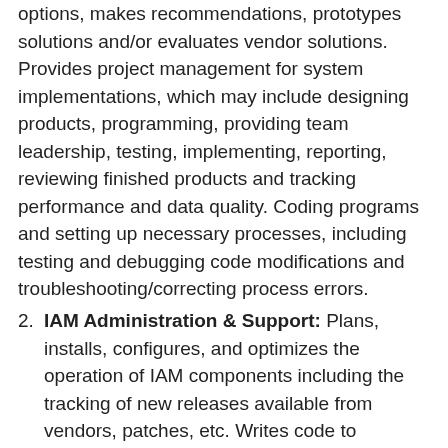options, makes recommendations, prototypes solutions and/or evaluates vendor solutions. Provides project management for system implementations, which may include designing products, programming, providing team leadership, testing, implementing, reporting, reviewing finished products and tracking performance and data quality. Coding programs and setting up necessary processes, including testing and debugging code modifications and troubleshooting/correcting process errors.
IAM Administration & Support: Plans, installs, configures, and optimizes the operation of IAM components including the tracking of new releases available from vendors, patches, etc. Writes code to integrate IAM components (e.g., drivers, connectors, scripts, programs); tests it for both function and robustness and moves it into production. Troubleshoots IAM system/component failures as they occur and provides solutions. Functions as the primary liaison to IAM system/component vendors to resolve issues with their software. Works with server and network administrators, systems analysts for connected